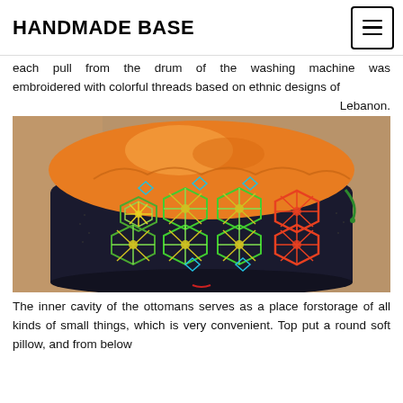HANDMADE BASE
each pull from the drum of the washing machine was embroidered with colorful threads based on ethnic designs of Lebanon.
[Figure (photo): A cylindrical ottoman/pouf made from a washing machine drum, embroidered with colorful ethnic geometric patterns in green, yellow, cyan, and orange on black, topped with an orange fabric cushion with gathered drawstring top, sitting on a wooden surface.]
The inner cavity of the ottomans serves as a place forstorage of all kinds of small things, which is very convenient. Top put a round soft pillow, and from below